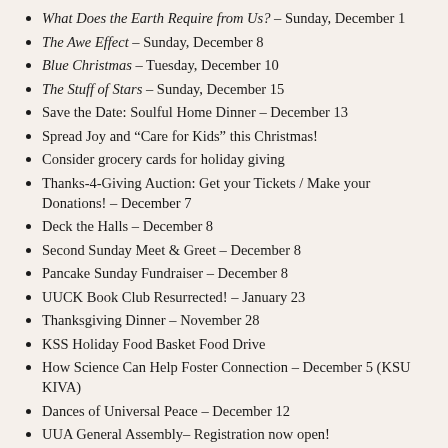What Does the Earth Require from Us? – Sunday, December 1
The Awe Effect – Sunday, December 8
Blue Christmas – Tuesday, December 10
The Stuff of Stars – Sunday, December 15
Save the Date: Soulful Home Dinner – December 13
Spread Joy and “Care for Kids” this Christmas!
Consider grocery cards for holiday giving
Thanks-4-Giving Auction: Get your Tickets / Make your Donations! – December 7
Deck the Halls – December 8
Second Sunday Meet & Greet – December 8
Pancake Sunday Fundraiser – December 8
UUCK Book Club Resurrected! – January 23
Thanksgiving Dinner – November 28
KSS Holiday Food Basket Food Drive
How Science Can Help Foster Connection – December 5 (KSU KIVA)
Dances of Universal Peace – December 12
UUA General Assembly– Registration now open!
UU Church of Kent uses iAlert! during inclement weather